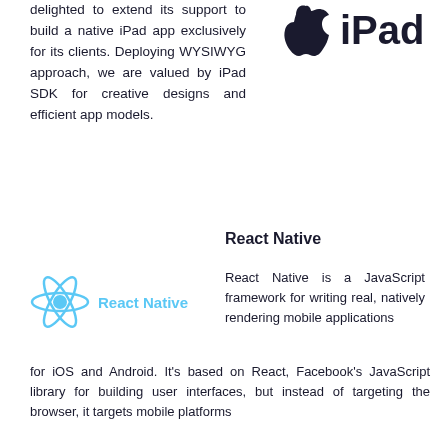delighted to extend its support to build a native iPad app exclusively for its clients. Deploying WYSIWYG approach, we are valued by iPad SDK for creative designs and efficient app models.
[Figure (logo): Apple iPad logo with apple symbol and 'iPad' text in bold black]
React Native
[Figure (logo): React Native logo - cyan atomic/electron symbol with 'React Native' text in cyan]
React Native is a JavaScript framework for writing real, natively rendering mobile applications for iOS and Android. It's based on React, Facebook's JavaScript library for building user interfaces, but instead of targeting the browser, it targets mobile platforms